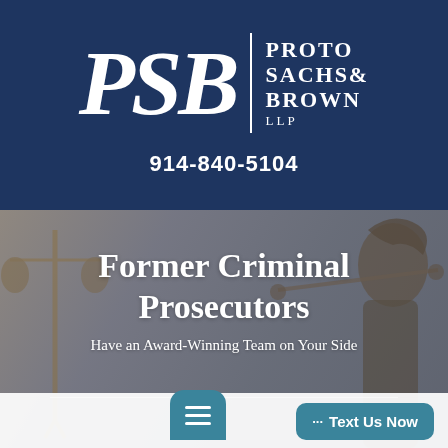[Figure (logo): PSB logo with large italic serif letters 'PSB', a vertical white divider line, and firm name 'PROTO SACHS & BROWN LLP' stacked to the right]
914-840-5104
[Figure (photo): Background photo of Lady Justice bronze statue with scales, overlaid with hero text]
Former Criminal Prosecutors
Have an Award-Winning Team on Your Side
[Figure (infographic): Bottom UI bar with hamburger menu button (teal rounded) and '... Text Us Now' teal button]